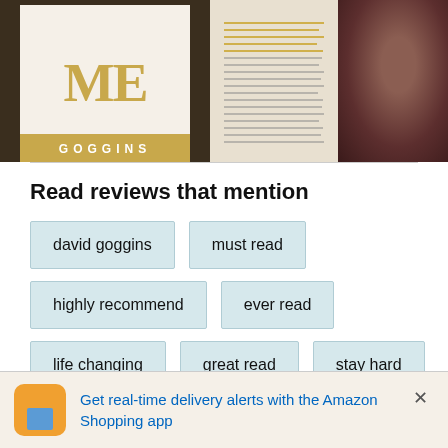[Figure (photo): Three photos: book cover of 'Me' by Goggins, open book pages with orange text, and a close-up of a person's face]
Read reviews that mention
david goggins
must read
highly recommend
ever read
life changing
great read
stay hard
See more
Top reviews from the United States
Get real-time delivery alerts with the Amazon Shopping app